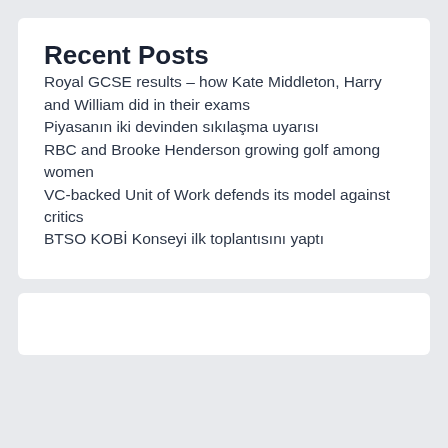Recent Posts
Royal GCSE results – how Kate Middleton, Harry and William did in their exams
Piyasanın iki devinden sıkılaşma uyarısı
RBC and Brooke Henderson growing golf among women
VC-backed Unit of Work defends its model against critics
BTSO KOBİ Konseyi ilk toplantısını yaptı